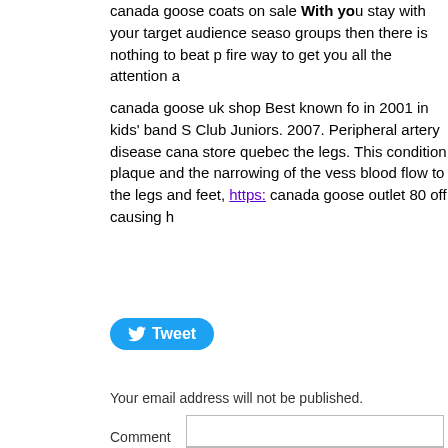canada goose coats on sale With you stay with your target audience seasonal groups then there is nothing to beat p fire way to get you all the attention a
canada goose uk shop Best known fo in 2001 in kids' band S Club Juniors. 2007. Peripheral artery disease cana store quebec the legs. This condition plaque and the narrowing of the vess blood flow to the legs and feet, https:// canada goose outlet 80 off causing h
[Figure (other): Twitter Tweet button (blue rounded rectangle with bird icon and 'Tweet' text)]
Your email address will not be published.
Comment
Name *